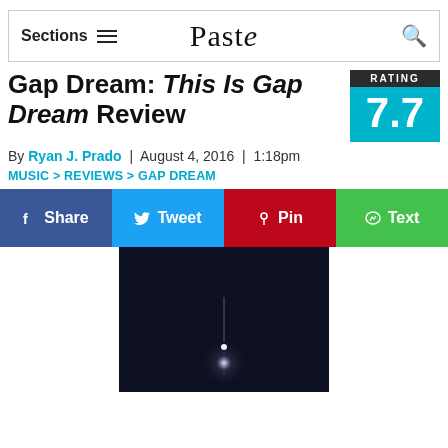Sections   [hamburger]   Paste   [search]
Gap Dream: This Is Gap Dream Review
[Figure (infographic): Rating box showing 7.7 on cyan/teal background with dark 'RATING' label at top]
By Ryan J. Prado  |  August 4, 2016  |  1:18pm
MUSIC > REVIEWS > GAP DREAM
[Figure (infographic): Social sharing buttons: Share (dark blue), Tweet (light blue), Pin (red), Text (green)]
[Figure (photo): Dark near-black image with a small bright light point/star in the center, appears to be an album cover or artistic photo]